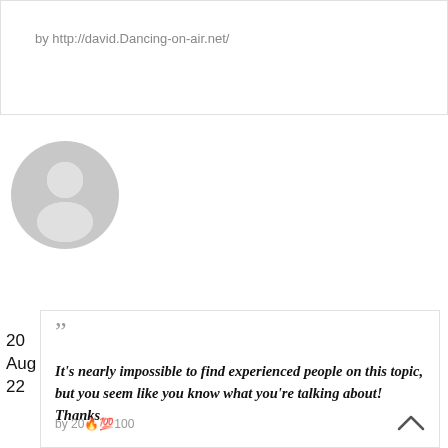by http://david.Dancing-on-air.net/
[Figure (illustration): Grey circular avatar placeholder with a person silhouette icon]
20
Aug
22
It's nearly impossible to find experienced people on this topic, but you seem like you know what you're talking about! Thanks
by 20🔥💯100